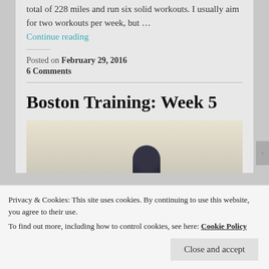total of 228 miles and run six solid workouts. I usually aim for two workouts per week, but …
Continue reading
Posted on February 29, 2016
6 Comments
Boston Training: Week 5
[Figure (photo): Partial photo of a person wearing headphones, cropped at bottom of frame]
Privacy & Cookies: This site uses cookies. By continuing to use this website, you agree to their use.
To find out more, including how to control cookies, see here: Cookie Policy
Close and accept